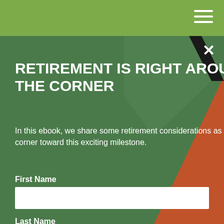[Figure (infographic): Light green top navigation bar with white hamburger menu icon in top-right corner]
RETIREMENT IS RIGHT AROUND THE CORNER
In this ebook, we share some retirement considerations as you round the corner toward this exciting milestone.
First Name
Last Name